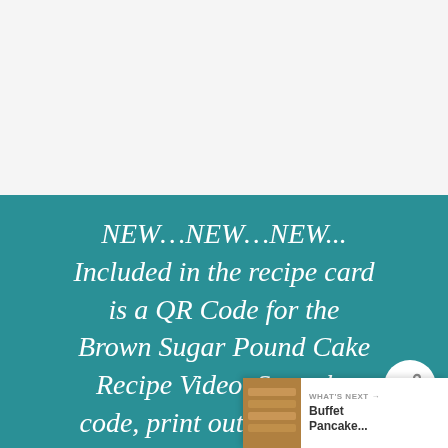[Figure (other): White/light gray background area at top of page, empty space]
NEW…NEW…NEW... Included in the recipe card is a QR Code for the Brown Sugar Pound Cake Recipe Video. Scan the code, print out recipe and
[Figure (other): WHAT'S NEXT panel with thumbnail image of pancakes and text 'Buffet Pancake...']